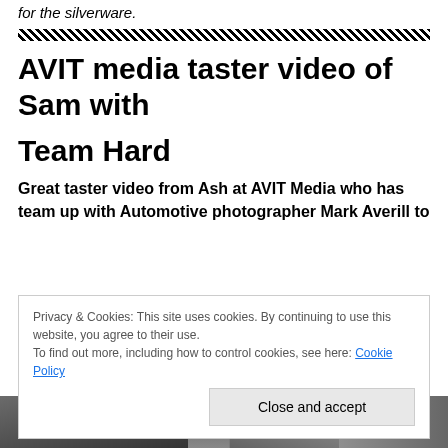for the silverware.
[Figure (other): Decorative zigzag/checkerboard divider line]
AVIT media taster video of Sam with Team Hard
Great taster video from Ash at AVIT Media who has team up with Automotive photographer Mark Averill to
Privacy & Cookies: This site uses cookies. By continuing to use this website, you agree to their use.
To find out more, including how to control cookies, see here: Cookie Policy
[Figure (photo): Bottom portion of page showing partial photograph of people, partially obscured by cookie banner]